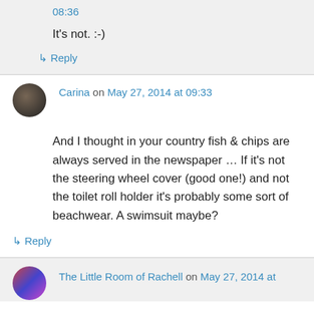08:36
It's not. :-)
↳ Reply
Carina on May 27, 2014 at 09:33
And I thought in your country fish & chips are always served in the newspaper … If it's not the steering wheel cover (good one!) and not the toilet roll holder it's probably some sort of beachwear. A swimsuit maybe?
↳ Reply
The Little Room of Rachell on May 27, 2014 at